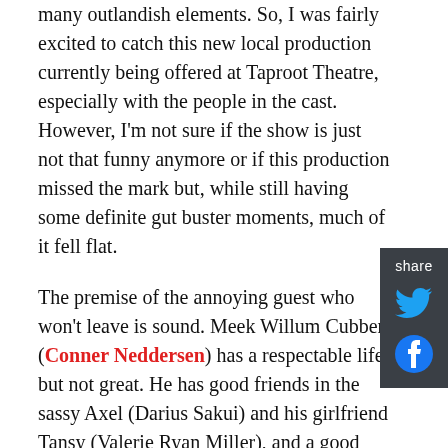many outlandish elements. So, I was fairly excited to catch this new local production currently being offered at Taproot Theatre, especially with the people in the cast. However, I'm not sure if the show is just not that funny anymore or if this production missed the mark but, while still having some definite gut buster moments, much of it fell flat.
The premise of the annoying guest who won't leave is sound. Meek Willum Cubbert (Conner Neddersen) has a respectable life but not great. He has good friends in the sassy Axel (Darius Sakui) and his girlfriend Tansy (Valerie Ryan Miller), and a good job as an architect designing hotels for Warnock Waldgrave (David Quicksall). But Tansy is about to move away to Washington DC and Waldgrave turns out to be a tyrant of a boss who kills any esthetic vision Willum might have. Things come to a head on Willum's birthday when Waldgrave comes by for dinner along with his wife Clelia (Kate